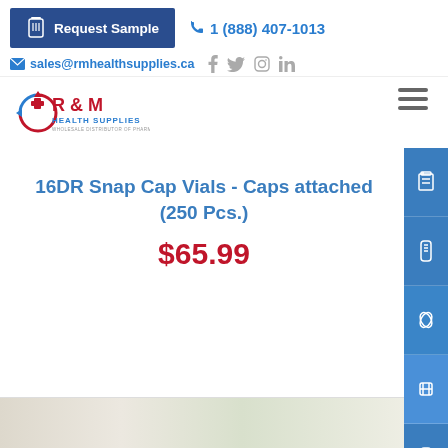Request Sample  1 (888) 407-1013
sales@rmhealthsupplies.ca
[Figure (logo): R&M Health Supplies logo with red cross and blue circular arrows]
16DR Snap Cap Vials - Caps attached (250 Pcs.)
$65.99
[Figure (photo): Bottom strip showing product photos]